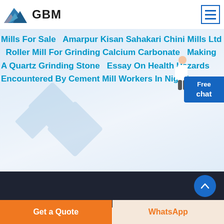[Figure (logo): GBM logo with blue mountain/triangle icon and bold GBM text]
[Figure (other): Hamburger menu icon in blue bordered square]
Mills For Sale  Amarpur Kisan Sahakari Chini Mills Ltd  Roller Mill For Grinding Calcium Carbonate  Making A Quartz Grinding Stone  Essay On Health Hazards Encountered By Cement Mill Workers In Nigeria
[Figure (other): Free chat widget with person illustration]
[Figure (other): Dark section with GBM logo at bottom]
[Figure (other): Scroll to top circular blue button with upward arrow]
Get a Quote
WhatsApp